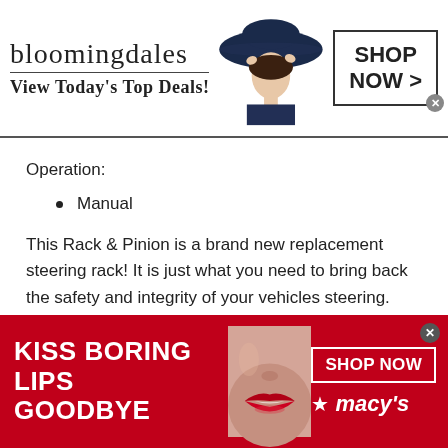[Figure (screenshot): Bloomingdale's advertisement banner: logo text 'bloomingdales', tagline 'View Today's Top Deals!', fashion model with wide-brim hat, 'SHOP NOW >' button box]
Operation:
Manual
This Rack & Pinion is a brand new replacement steering rack! It is just what you need to bring back the safety and integrity of your vehicles steering.
[Figure (screenshot): Macy's advertisement banner: 'KISS BORING LIPS GOODBYE', closeup of woman's lips with red lipstick, 'SHOP NOW' button, Macy's star logo]